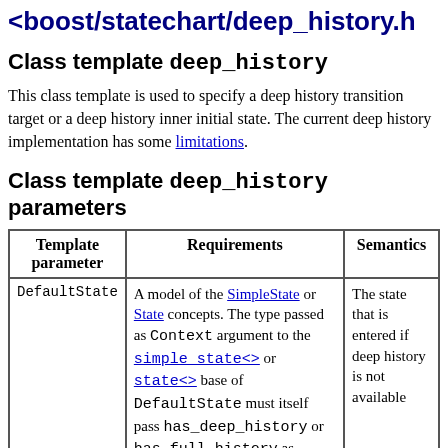<boost/statechart/deep_history.h
Class template deep_history
This class template is used to specify a deep history transition target or a deep history inner initial state. The current deep history implementation has some limitations.
Class template deep_history parameters
| Template parameter | Requirements | Semantics |
| --- | --- | --- |
| DefaultState | A model of the SimpleState or State concepts. The type passed as Context argument to the simple_state<> or state<> base of DefaultState must itself pass has_deep_history or has_full_history as historyMode argument to its simple_state<> or ... | The state that is entered if deep history is not available |